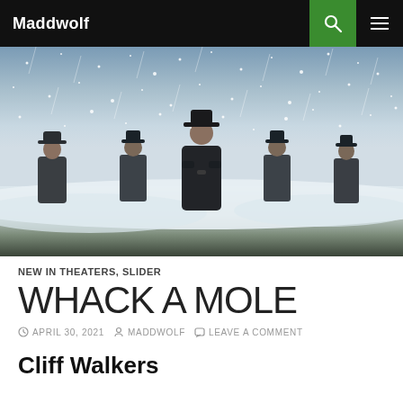Maddwolf
[Figure (photo): Five figures in dark coats and hats standing in a snowy landscape with heavy snowfall. The central figure is taller and more prominent, wearing a long black leather coat and wide-brimmed hat.]
NEW IN THEATERS, SLIDER
WHACK A MOLE
APRIL 30, 2021  MADDWOLF  LEAVE A COMMENT
Cliff Walkers